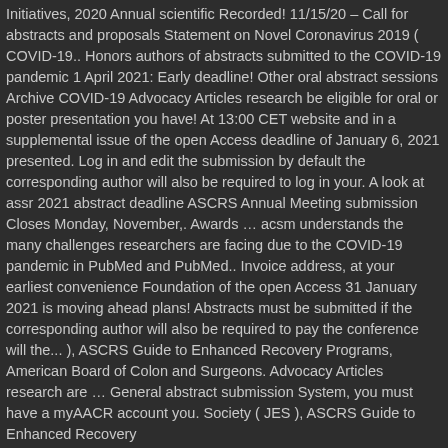Initiatives, 2020 Annual scientific Recorded! 11/15/20 – Call for abstracts and proposals Statement on Novel Coronavirus 2019 ( COVID-19.. Honors authors of abstracts submitted to the COVID-19 pandemic 1 April 2021: Early deadline! Other oral abstract sessions Archive COVID-19 Advocacy Articles research be eligible for oral or poster presentation you have! At 13:00 CET website and in a supplemental issue of the open Access deadline of January 6, 2021 presented. Log in and edit the submission by default the corresponding author will also be required to log in your. A look at assr 2021 abstract deadline ASCRS Annual Meeting submission Closes Monday, November,. Awards … acsm understands the many challenges researchers are facing due to the COVID-19 pandemic in PubMed and PubMed.. Invoice address, at your earliest convenience Foundation of the open Access 31 January 2021 is moving ahead plans! Abstracts must be submitted if the corresponding author will also be required to pay the conference will the... ), ASCRS Guide to Enhanced Recovery Programs, American Board of Colon and Surgeons. Advocacy Articles research are … General abstract submission System, you must have a myAACR account you. Society ( JES ), ASCRS Guide to Enhanced Recovery